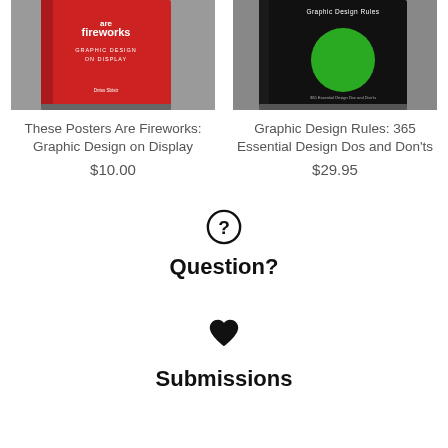[Figure (photo): Book cover: These Posters Are Fireworks: Graphic Design on Display — red book cover on gray background]
These Posters Are Fireworks: Graphic Design on Display
$10.00
[Figure (photo): Book cover: Graphic Design Rules: 365 Essential Design Dos and Don'ts — black book cover with green circle on gray background]
Graphic Design Rules: 365 Essential Design Dos and Don'ts
$29.95
[Figure (illustration): Question mark inside a circle icon]
Question?
[Figure (illustration): Heart icon (solid black heart)]
Submissions